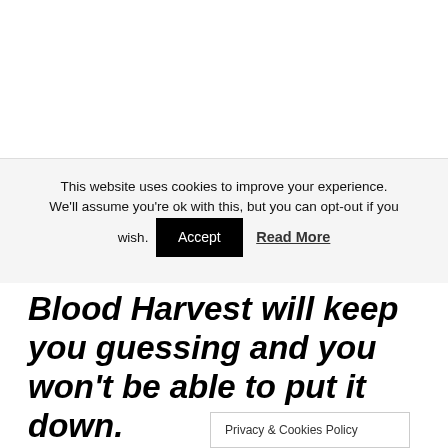This website uses cookies to improve your experience. We'll assume you're ok with this, but you can opt-out if you wish. [Accept] [Read More]
Blood Harvest will keep you guessing and you won't be able to put it down.
After reading Sharon Bolton's Lacey Flint series of crime thrillers I am [addicted to her writing and couldn't wait to
Privacy & Cookies Policy